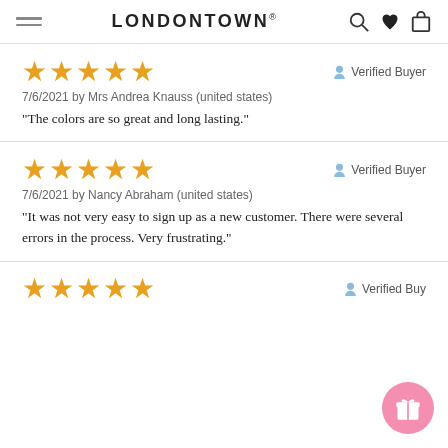LONDONTOWN®
★★★★★  Verified Buyer
7/6/2021 by Mrs Andrea Knauss (united states)
"The colors are so great and long lasting."
★★★★★  Verified Buyer
7/6/2021 by Nancy Abraham (united states)
"It was not very easy to sign up as a new customer. There were several errors in the process. Very frustrating."
★★★★★  Verified Buy...